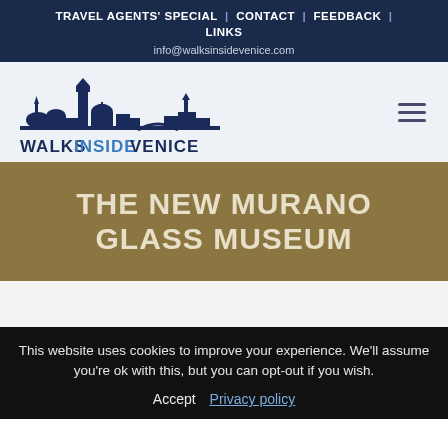TRAVEL AGENTS' SPECIAL | CONTACT | FEEDBACK | LINKS
info@walksinsidevenice.com
[Figure (logo): Walks Inside Venice logo with Venice skyline silhouette in dark navy blue and text WALKSINSIDEVENICE where INSIDE is in blue]
THE NEW MURANO GLASS MUSEUM
This website uses cookies to improve your experience. We'll assume you're ok with this, but you can opt-out if you wish.
Accept  Privacy policy